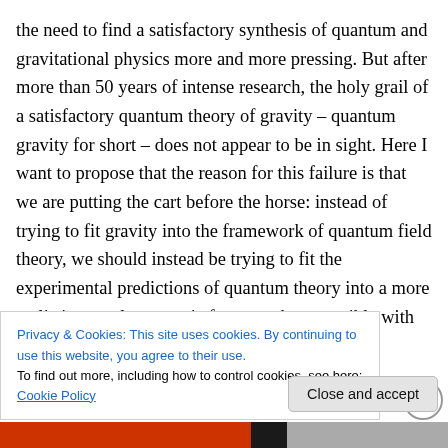the need to find a satisfactory synthesis of quantum and gravitational physics more and more pressing. But after more than 50 years of intense research, the holy grail of a satisfactory quantum theory of gravity – quantum gravity for short – does not appear to be in sight. Here I want to propose that the reason for this failure is that we are putting the cart before the horse: instead of trying to fit gravity into the framework of quantum field theory, we should instead be trying to fit the experimental predictions of quantum theory into a more realistic causal geometric framework compatible with general relativity. It may be
Privacy & Cookies: This site uses cookies. By continuing to use this website, you agree to their use.
To find out more, including how to control cookies, see here: Cookie Policy